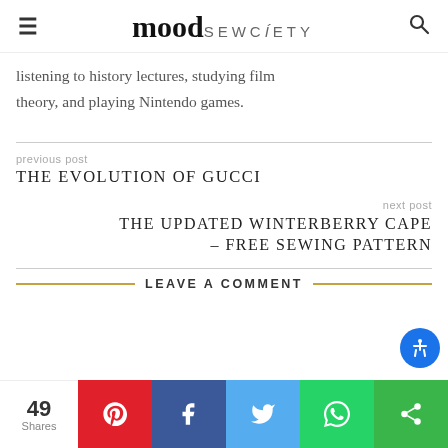Mood Sew Society
listening to history lectures, studying film theory, and playing Nintendo games.
previous post
THE EVOLUTION OF GUCCI
next post
THE UPDATED WINTERBERRY CAPE – FREE SEWING PATTERN
LEAVE A COMMENT
49 Shares